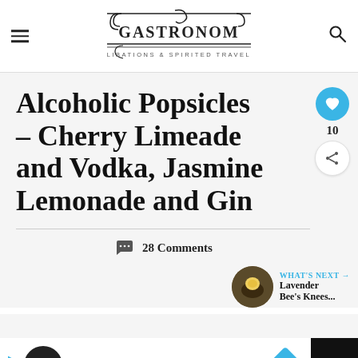GASTRONOM — LIBATIONS & SPIRITED TRAVEL
Alcoholic Popsicles – Cherry Limeade and Vodka, Jasmine Lemonade and Gin
28 Comments
WHAT'S NEXT → Lavender Bee's Knees...
[Figure (screenshot): Advertisement bar at bottom with logo, checkmark, In-store shopping text, arrow icon, and W logo]